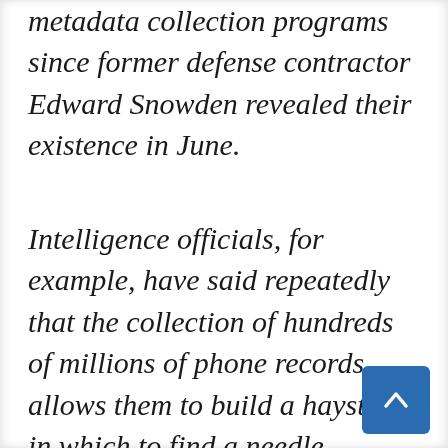metadata collection programs since former defense contractor Edward Snowden revealed their existence in June.
Intelligence officials, for example, have said repeatedly that the collection of hundreds of millions of phone records allows them to build a haystack in which to find a needle, apparently missing the irony that “finding a needle in a haystack” is a expression meant to convey that a